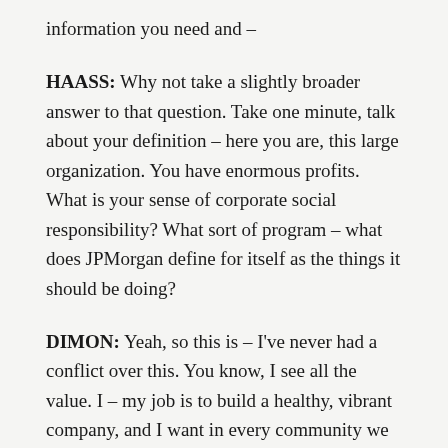information you need and –
HAASS: Why not take a slightly broader answer to that question. Take one minute, talk about your definition – here you are, this large organization. You have enormous profits. What is your sense of corporate social responsibility? What sort of program – what does JPMorgan define for itself as the things it should be doing?
DIMON: Yeah, so this is – I've never had a conflict over this. You know, I see all the value. I – my job is to build a healthy, vibrant company, and I want in every community we operate in, including Greece, Italy, Spain, in every hamlet – we're in 2,000 hamlets